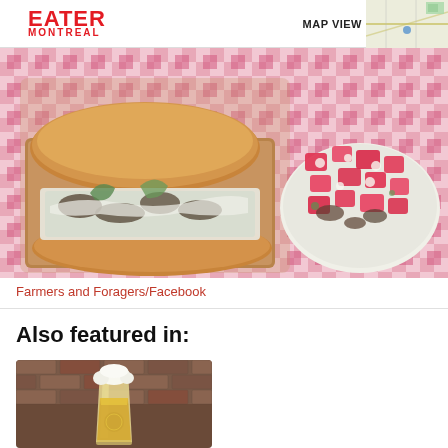EATER MONTREAL | MAP VIEW
[Figure (photo): Overhead view of a sandwich in a cardboard tray and a bowl of watermelon salad on a pink and white checkered tablecloth]
Farmers and Foragers/Facebook
Also featured in:
[Figure (photo): A glass of light beer on a brick background]